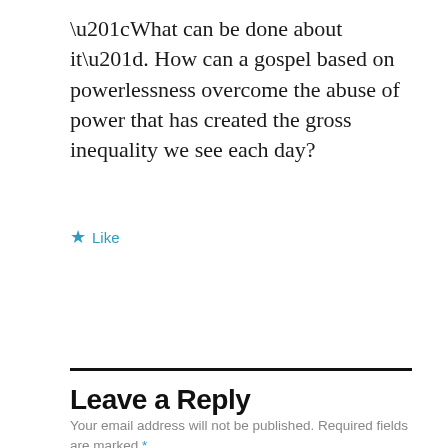“What can be done about it”. How can a gospel based on powerlessness overcome the abuse of power that has created the gross inequality we see each day?
★ Like
Reply
Leave a Reply
Your email address will not be published. Required fields are marked *